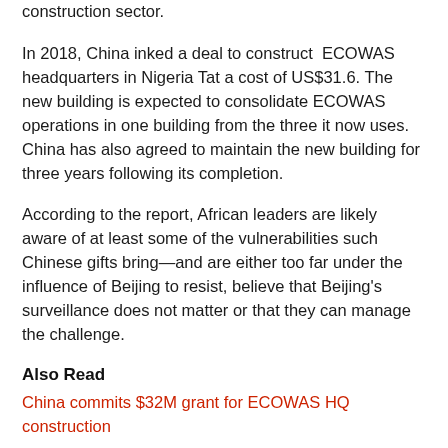construction sector.
In 2018, China inked a deal to construct ECOWAS headquarters in Nigeria Tat a cost of US$31.6. The new building is expected to consolidate ECOWAS operations in one building from the three it now uses. China has also agreed to maintain the new building for three years following its completion.
According to the report, African leaders are likely aware of at least some of the vulnerabilities such Chinese gifts bring—and are either too far under the influence of Beijing to resist, believe that Beijing's surveillance does not matter or that they can manage the challenge.
Also Read
China commits $32M grant for ECOWAS HQ construction